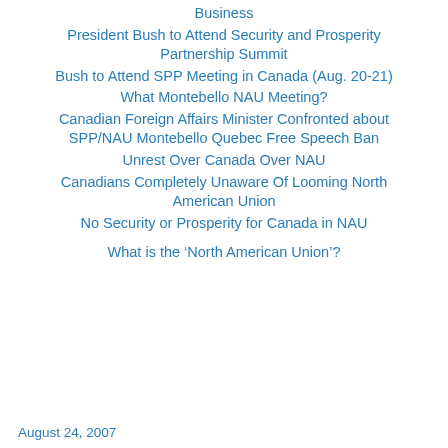Business
President Bush to Attend Security and Prosperity Partnership Summit
Bush to Attend SPP Meeting in Canada (Aug. 20-21)
What Montebello NAU Meeting?
Canadian Foreign Affairs Minister Confronted about SPP/NAU Montebello Quebec Free Speech Ban
Unrest Over Canada Over NAU
Canadians Completely Unaware Of Looming North American Union
No Security or Prosperity for Canada in NAU
What is the ‘North American Union’?
August 24, 2007